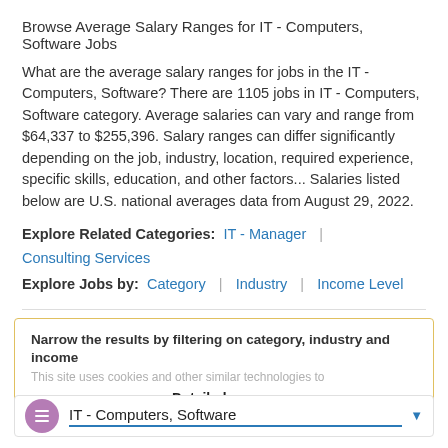Browse Average Salary Ranges for IT - Computers, Software Jobs
What are the average salary ranges for jobs in the IT - Computers, Software? There are 1105 jobs in IT - Computers, Software category. Average salaries can vary and range from $64,337 to $255,396. Salary ranges can differ significantly depending on the job, industry, location, required experience, specific skills, education, and other factors... Salaries listed below are U.S. national averages data from August 29, 2022.
Explore Related Categories: IT - Manager | Consulting Services
Explore Jobs by: Category | Industry | Income Level
Narrow the results by filtering on category, industry and income
This site uses cookies and other similar technologies to provide site functionality, analyze traffic and usage, and deliver content tailored to your interests. Learn More
DISPLAY Compact Detailed
IT - Computers, Software